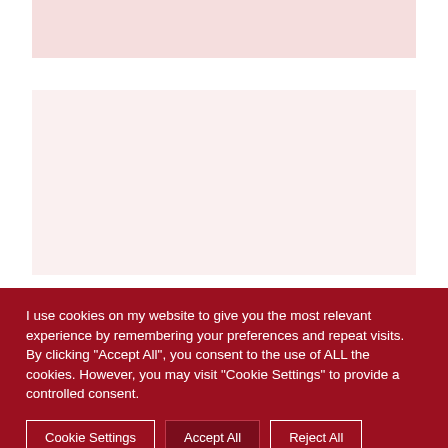[Figure (other): Top pink/rose colored bar strip]
[Figure (other): Middle light pink/rose colored rectangular box]
I use cookies on my website to give you the most relevant experience by remembering your preferences and repeat visits. By clicking "Accept All", you consent to the use of ALL the cookies. However, you may visit "Cookie Settings" to provide a controlled consent.
Cookie Settings | Accept All | Reject All